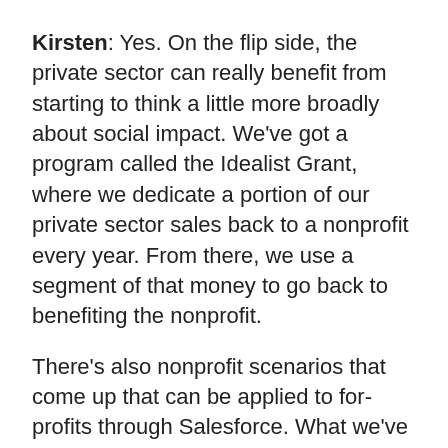Kirsten: Yes. On the flip side, the private sector can really benefit from starting to think a little more broadly about social impact. We've got a program called the Idealist Grant, where we dedicate a portion of our private sector sales back to a nonprofit every year. From there, we use a segment of that money to go back to benefiting the nonprofit.
There's also nonprofit scenarios that come up that can be applied to for-profits through Salesforce. What we've found is there's a lot of collaboration in the business and nonprofit communities these days. Everyone can work together much more than they did in the past.
Zak: How about from a use case standpoint? Do